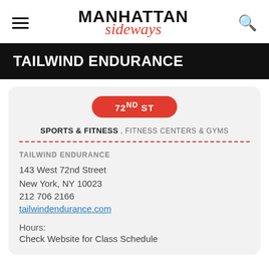MANHATTAN sideways
TAILWIND ENDURANCE
72nd ST
SPORTS & FITNESS , FITNESS CENTERS & GYMS
TAILWIND ENDURANCE
143 West 72nd Street
New York, NY 10023
212 706 2166
tailwindendurance.com
Hours:
Check Website for Class Schedule